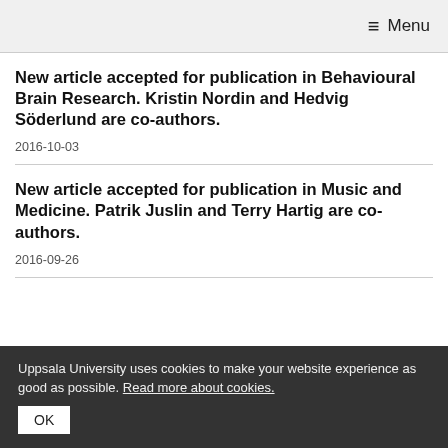≡ Menu
New article accepted for publication in Behavioural Brain Research. Kristin Nordin and Hedvig Söderlund are co-authors.
2016-10-03
New article accepted for publication in Music and Medicine. Patrik Juslin and Terry Hartig are co-authors.
2016-09-26
Uppsala University uses cookies to make your website experience as good as possible. Read more about cookies. OK